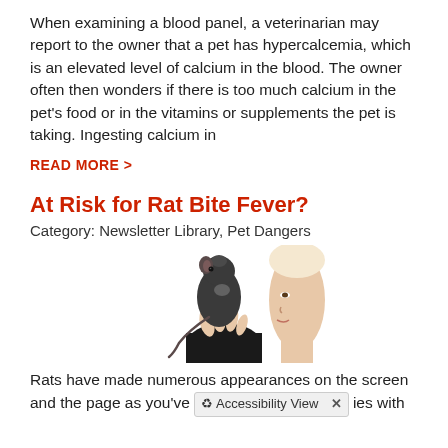When examining a blood panel, a veterinarian may report to the owner that a pet has hypercalcemia, which is an elevated level of calcium in the blood. The owner often then wonders if there is too much calcium in the pet's food or in the vitamins or supplements the pet is taking. Ingesting calcium in
READ MORE >
At Risk for Rat Bite Fever?
Category: Newsletter Library, Pet Dangers
[Figure (photo): A small dark rat being held up by a person's hand, with the person's face visible in profile on the right side of the image.]
Rats have made numerous appearances on the screen and the page as you've [Accessibility View] ies with